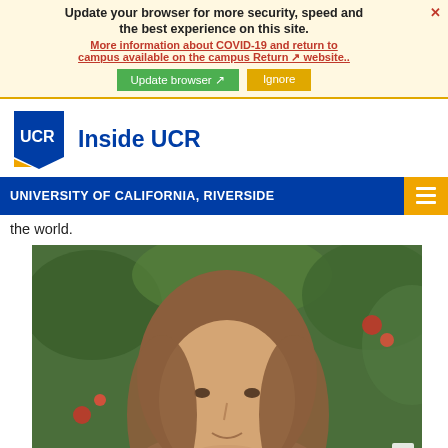Your web browser (iOS 11) is out of date. Update your browser for more security, speed and the best experience on this site. More information about COVID-19 and return to campus available on the campus Return website.. Update browser | Ignore
[Figure (logo): UCR logo with blue pentagon shape and 'Inside UCR' text]
Inside UCR
UNIVERSITY OF CALIFORNIA, RIVERSIDE
the world.
[Figure (photo): Portrait photo of a woman with long brown hair, outdoors with green foliage and red flowers in background]